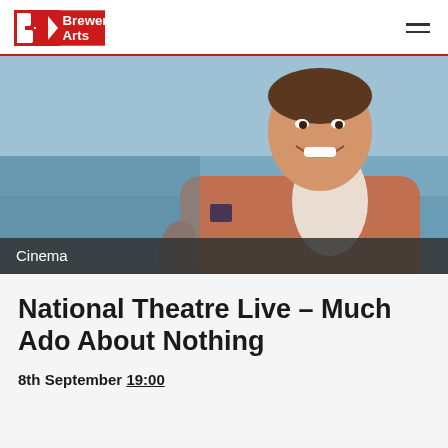Brewery Arts
[Figure (photo): A man in a rust-brown blazer with a pocket square, smiling, posing against a light blue background.]
Cinema
National Theatre Live – Much Ado About Nothing
8th September 19:00